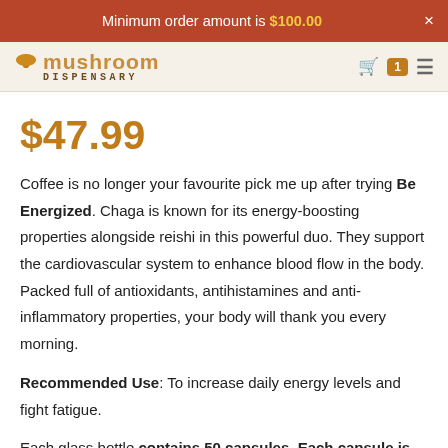Minimum order amount is $100.00  ×
[Figure (logo): Mushroom Dispensary logo with stylized text and mushroom icon]
$47.99
Coffee is no longer your favourite pick me up after trying Be Energized. Chaga is known for its energy-boosting properties alongside reishi in this powerful duo. They support the cardiovascular system to enhance blood flow in the body. Packed full of antioxidants, antihistamines and anti-inflammatory properties, your body will thank you every morning.
Recommended Use: To increase daily energy levels and fight fatigue.
Each glass bottle contains 50 capsules. Each capsule is 500mg and contains: 200mg Rieshi (Ganoderma